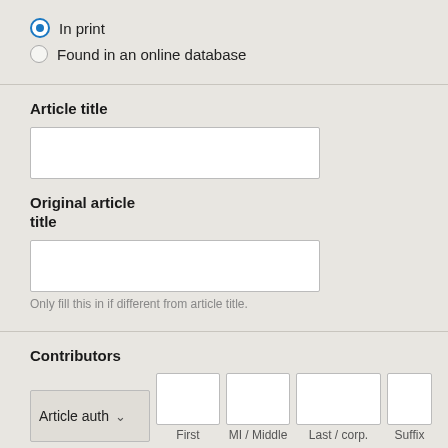In print
Found in an online database
Article title
Original article title
Only fill this in if different from article title.
Contributors
Article auth  First  MI / Middle  Last / corp.  Suffix